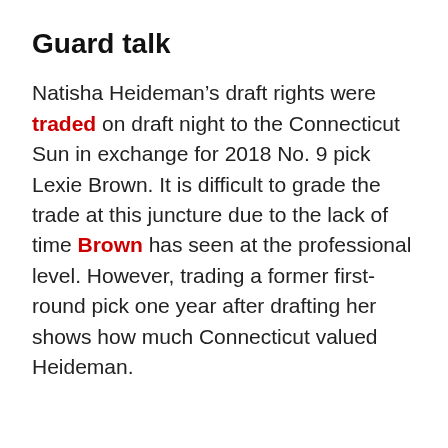Guard talk
Natisha Heideman’s draft rights were traded on draft night to the Connecticut Sun in exchange for 2018 No. 9 pick Lexie Brown. It is difficult to grade the trade at this juncture due to the lack of time Brown has seen at the professional level. However, trading a former first-round pick one year after drafting her shows how much Connecticut valued Heideman.